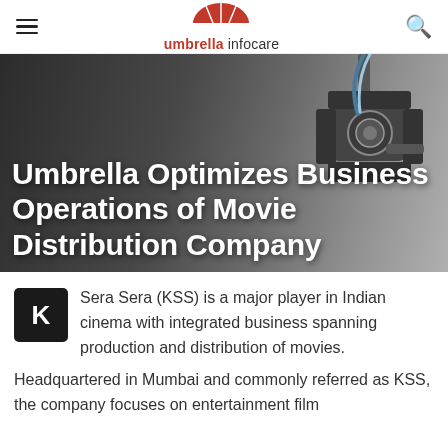umbrella infocare
[Figure (photo): Studio film light / fresnel spotlight on a dark background, used as hero image behind article title]
Umbrella Optimizes Business Operations of Movie Distribution Company
Sera Sera (KSS) is a major player in Indian cinema with integrated business spanning production and distribution of movies. Headquartered in Mumbai and commonly referred as KSS, the company focuses on entertainment film